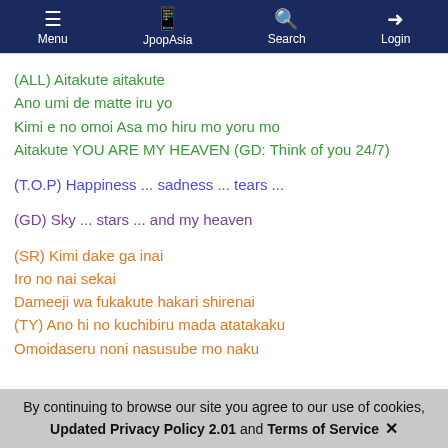Menu | JpopAsia | Search | Login
(ALL) Aitakute aitakute
Ano umi de matte iru yo
Kimi e no omoi Asa mo hiru mo yoru mo
Aitakute YOU ARE MY HEAVEN (GD: Think of you 24/7)
(T.O.P) Happiness ... sadness ... tears ...
(GD) Sky ... stars ... and my heaven
(SR) Kimi dake ga inai
Iro no nai sekai
Dameeji wa fukakute hakari shirenai
(TY) Ano hi no kuchibiru mada atatakaku
Omoidaseru noni nasusube mo naku
(T.O.P) Oh baby, hora, kokoro no naka ni kimi no memory
(GD) Oh baby, mada karada ni nokoru kimi no messeeji
(DS) T...
By continuing to browse our site you agree to our use of cookies, Updated Privacy Policy 2.01 and Terms of Service ✕